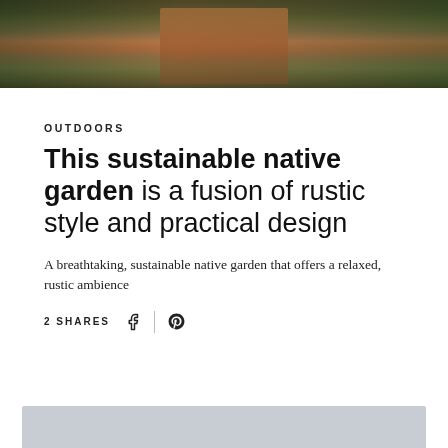[Figure (photo): Hero image of a garden/outdoor space with steps, lush greenery, and warm earthy tones]
OUTDOORS
This sustainable native garden is a fusion of rustic style and practical design
A breathtaking, sustainable native garden that offers a relaxed, rustic ambience
2 SHARES
[Figure (photo): Bottom partial image, light grey/neutral color background]